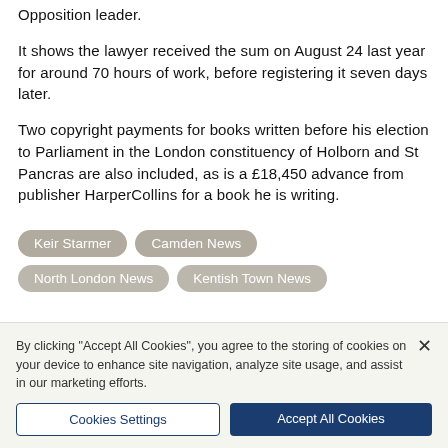Opposition leader.
It shows the lawyer received the sum on August 24 last year for around 70 hours of work, before registering it seven days later.
Two copyright payments for books written before his election to Parliament in the London constituency of Holborn and St Pancras are also included, as is a £18,450 advance from publisher HarperCollins for a book he is writing.
Keir Starmer
Camden News
North London News
Kentish Town News
By clicking "Accept All Cookies", you agree to the storing of cookies on your device to enhance site navigation, analyze site usage, and assist in our marketing efforts.
Cookies Settings
Accept All Cookies